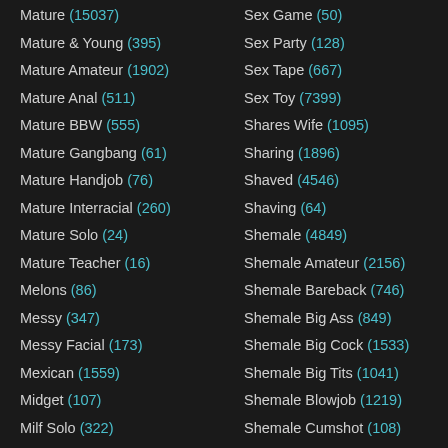Mature (15037)
Mature & Young (395)
Mature Amateur (1902)
Mature Anal (511)
Mature BBW (555)
Mature Gangbang (61)
Mature Handjob (76)
Mature Interracial (260)
Mature Solo (24)
Mature Teacher (16)
Melons (86)
Messy (347)
Messy Facial (173)
Mexican (1559)
Midget (107)
Milf Solo (322)
Sex Game (50)
Sex Party (128)
Sex Tape (667)
Sex Toy (7399)
Shares Wife (1095)
Sharing (1896)
Shaved (4546)
Shaving (64)
Shemale (4849)
Shemale Amateur (2156)
Shemale Bareback (746)
Shemale Big Ass (849)
Shemale Big Cock (1533)
Shemale Big Tits (1041)
Shemale Blowjob (1219)
Shemale Cumshot (108)